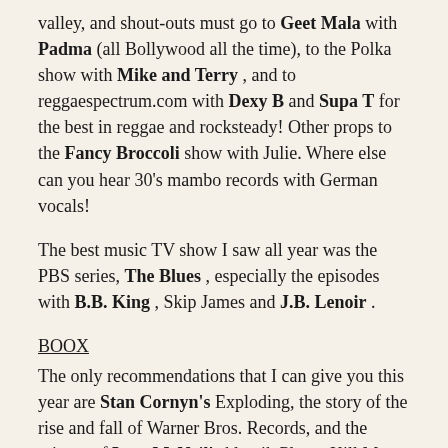valley, and shout-outs must go to Geet Mala with Padma (all Bollywood all the time), to the Polka show with Mike and Terry , and to reggaespectrum.com with Dexy B and Supa T for the best in reggae and rocksteady! Other props to the Fancy Broccoli show with Julie. Where else can you hear 30's mambo records with German vocals!
The best music TV show I saw all year was the PBS series, The Blues , especially the episodes with B.B. King , Skip James and J.B. Lenoir .
BOOX
The only recommendations that I can give you this year are Stan Cornyn's Exploding, the story of the rise and fall of Warner Bros. Records, and the reissue of Legs McNeil's klassik Please Kill Me, the true story of the rise and fall of punk musik.